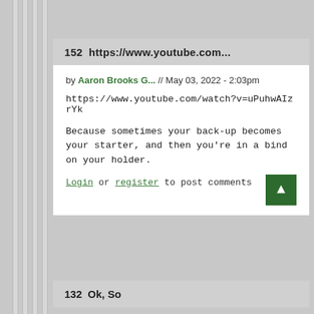152  https://www.youtube.com...
by Aaron Brooks G... // May 03, 2022 - 2:03pm
https://www.youtube.com/watch?v=uPuhwAIzrYk
Because sometimes your back-up becomes your starter, and then you're in a bind on your holder.
Login or register to post comments
132  Ok, So